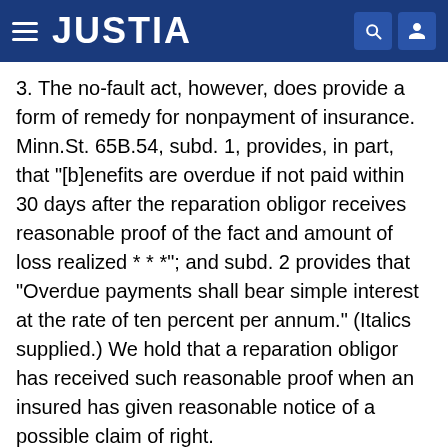JUSTIA
3. The no-fault act, however, does provide a form of remedy for nonpayment of insurance. Minn.St. 65B.54, subd. 1, provides, in part, that "[b]enefits are overdue if not paid within 30 days after the reparation obligor receives reasonable proof of the fact and amount of loss realized * * *"; and subd. 2 provides that "Overdue payments shall bear simple interest at the rate of ten percent per annum." (Italics supplied.) We hold that a reparation obligor has received such reasonable proof when an insured has given reasonable notice of a possible claim of right.
Because the trial court granted recovery for emotional distress and punitive damages, it did not undertake to impose the statutory penalty. We accordingly remand to the trial court for the sole purpose of determining the earliest date plaintiff insured gave reasonable notice of